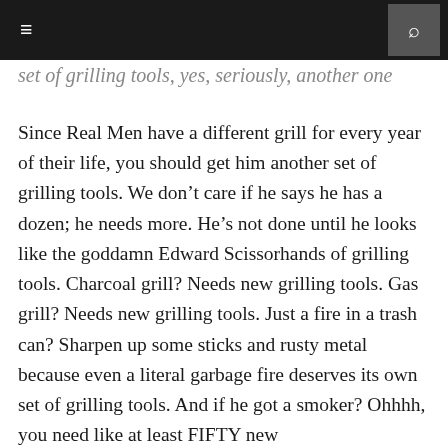≡  🔍
set of grilling tools, yes, seriously, another one
Since Real Men have a different grill for every year of their life, you should get him another set of grilling tools. We don't care if he says he has a dozen; he needs more. He's not done until he looks like the goddamn Edward Scissorhands of grilling tools. Charcoal grill? Needs new grilling tools. Gas grill? Needs new grilling tools. Just a fire in a trash can? Sharpen up some sticks and rusty metal because even a literal garbage fire deserves its own set of grilling tools. And if he got a smoker? Ohhhh, you need like at least FIFTY new